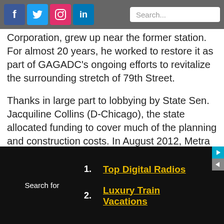Social media icons (Facebook, Twitter, Instagram, LinkedIn) and Search bar
Corporation, grew up near the former station. For almost 20 years, he worked to restore it as part of GAGADC's ongoing efforts to revitalize the surrounding stretch of 79th Street.
Thanks in large part to lobbying by State Sen. Jacquiline Collins (D-Chicago), the state allocated funding to cover much of the planning and construction costs. In August 2012, Metra contracted San Francisco-based T.Y. Lyn International to design the new Auburn Park station. In 2013, Metra approved the station's construction as part of 2013-17 Capital Projects Program.
Search for  1. Top Digital Radios  2. Luxury Train Vacations